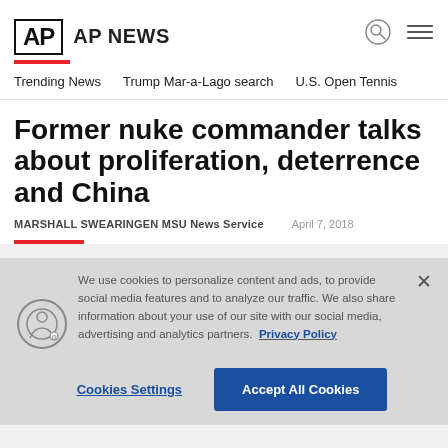AP  AP NEWS
Trending News   Trump Mar-a-Lago search   U.S. Open Tennis
Former nuke commander talks about proliferation, deterrence and China
MARSHALL SWEARINGEN MSU News Service   April 7, 2018
We use cookies to personalize content and ads, to provide social media features and to analyze our traffic. We also share information about your use of our site with our social media, advertising and analytics partners.  Privacy Policy
Cookies Settings   Accept All Cookies